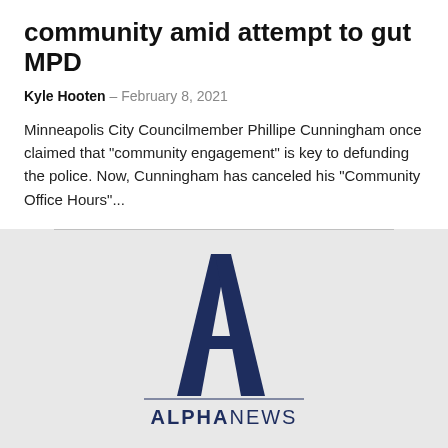community amid attempt to gut MPD
Kyle Hooten – February 8, 2021
Minneapolis City Councilmember Phillipe Cunningham once claimed that "community engagement" is key to defunding the police. Now, Cunningham has canceled his "Community Office Hours"...
[Figure (logo): Alpha News logo — large letter A in dark navy blue above a horizontal rule and the text ALPHANEWS]